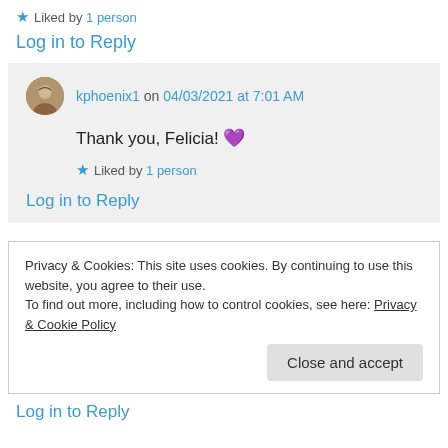★ Liked by 1 person
Log in to Reply
kphoenix1 on 04/03/2021 at 7:01 AM
Thank you, Felicia! 💜
★ Liked by 1 person
Log in to Reply
Privacy & Cookies: This site uses cookies. By continuing to use this website, you agree to their use.
To find out more, including how to control cookies, see here: Privacy & Cookie Policy
Close and accept
Log in to Reply